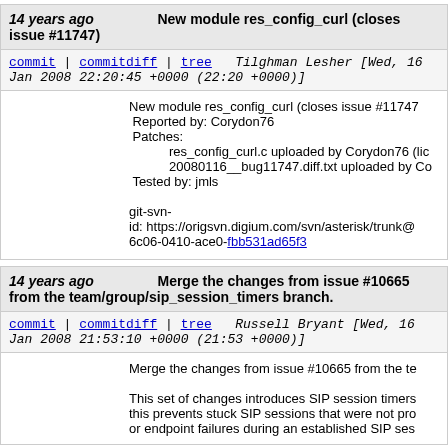14 years ago   New module res_config_curl (closes issue #11747)
commit | commitdiff | tree   Tilghman Lesher [Wed, 16 Jan 2008 22:20:45 +0000 (22:20 +0000)]
New module res_config_curl (closes issue #11747
Reported by: Corydon76
Patches:
    res_config_curl.c uploaded by Corydon76 (lic
    20080116__bug11747.diff.txt uploaded by Co
Tested by: jmls

git-svn-
id: https://origsvn.digium.com/svn/asterisk/trunk@
6c06-0410-ace0-fbb531ad65f3
14 years ago   Merge the changes from issue #10665 from the team/group/sip_session_timers branch.
commit | commitdiff | tree   Russell Bryant [Wed, 16 Jan 2008 21:53:10 +0000 (21:53 +0000)]
Merge the changes from issue #10665 from the te

This set of changes introduces SIP session timers
this prevents stuck SIP sessions that were not pro
or endpoint failures during an established SIP ses